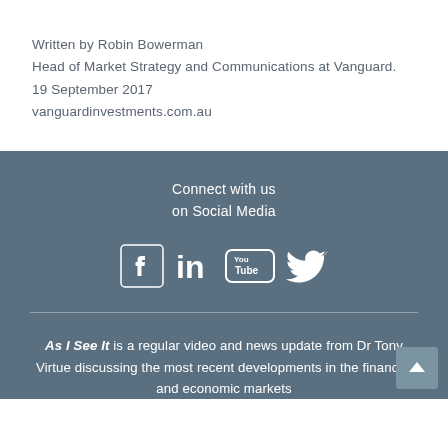Written by Robin Bowerman
Head of Market Strategy and Communications at Vanguard.
19 September 2017
vanguardinvestments.com.au
Connect with us
on Social Media
[Figure (illustration): Social media icons: Facebook, LinkedIn, YouTube, Twitter — white icons on dark blue-grey background]
As I See It is a regular video and news update from Dr Tony Virtue discussing the most recent developments in the financial and economic markets